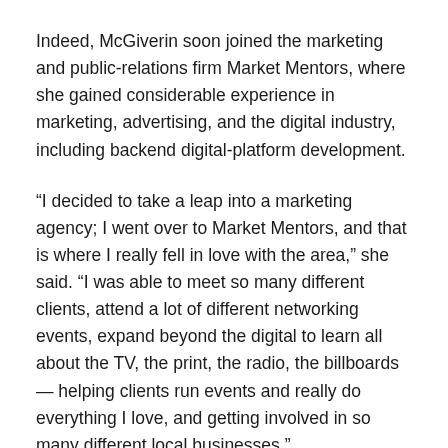Indeed, McGiverin soon joined the marketing and public-relations firm Market Mentors, where she gained considerable experience in marketing, advertising, and the digital industry, including backend digital-platform development.
“I decided to take a leap into a marketing agency; I went over to Market Mentors, and that is where I really fell in love with the area,” she said. “I was able to meet so many different clients, attend a lot of different networking events, expand beyond the digital to learn all about the TV, the print, the radio, the billboards — helping clients run events and really do everything I love, and getting involved in so many different local businesses.”